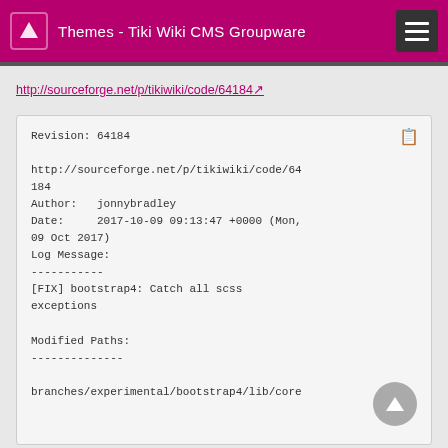Themes - Tiki Wiki CMS Groupware
http://sourceforge.net/p/tikiwiki/code/64184
Revision: 64184

http://sourceforge.net/p/tikiwiki/code/64184
Author:   jonnybradley
Date:     2017-10-09 09:13:47 +0000 (Mon, 09 Oct 2017)
Log Message:
-----------
[FIX] bootstrap4: Catch all scss exceptions

Modified Paths:
--------------

branches/experimental/bootstrap4/lib/core